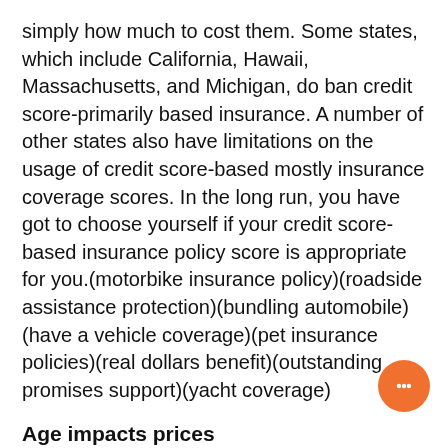simply how much to cost them. Some states, which include California, Hawaii, Massachusetts, and Michigan, do ban credit score-primarily based insurance. A number of other states also have limitations on the usage of credit score-based mostly insurance coverage scores. In the long run, you have got to choose yourself if your credit score-based insurance policy score is appropriate for you.(motorbike insurance policy)(roadside assistance protection)(bundling automobile)(have a vehicle coverage)(pet insurance policies)(real dollars benefit)(outstanding promises support)(yacht coverage)
Age impacts prices
Several elements impact the price of car or truck insurance policies discount rates, which includes age. Age has an effect on your rate by more than 30 per cent, and in certain states, a youthful driver will pay Virtually four periods as much as a thirty-calendar year-old. Inexperience is another significant factor, as younger young adults usually tend to